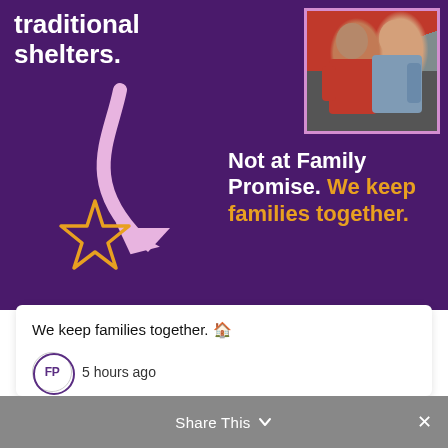[Figure (screenshot): Purple background promotional image for Family Promise showing a curved pink arrow, a star icon, and a photo of two people in the upper right corner]
traditional shelters.
Not at Family Promise. We keep families together.
We keep families together. 🏠
5 hours ago
Comment
Share This ∨  ×